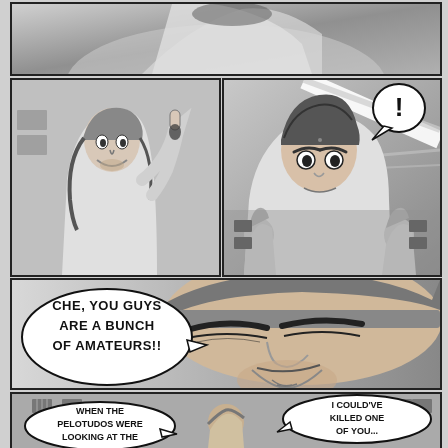[Figure (illustration): Comic manga page panel 1: top strip showing action scene with a figure, grayscale manga art]
[Figure (illustration): Comic manga panel 2: man with long hair and beanie hat raising one finger, wearing light jacket, pointing upward]
[Figure (illustration): Comic manga panel 3: young man with styled hair reacting with exclamation mark speech bubble, two figures in background near building with bars on windows, lightning bolt effects]
[Figure (illustration): Comic manga panel 4 large: close-up of man with beanie hat and goatee smirking, speech bubble reads: CHE, YOU GUYS ARE A BUNCH OF AMATEURS!!]
[Figure (illustration): Comic manga panel 5 bottom: wide shot with building in background, two speech bubbles: 'WHEN THE PELOTUDOS WERE LOOKING AT THE' and 'I COULD'VE KILLED ONE OF YOU...']